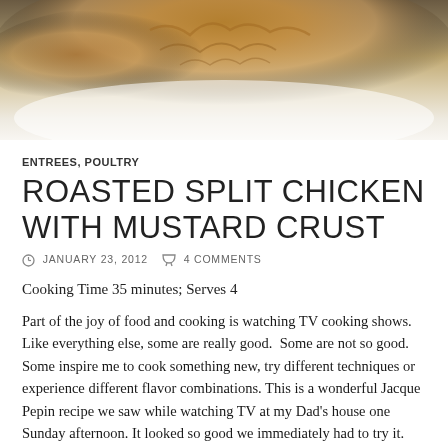[Figure (photo): Top portion of a roasted chicken dish on a white plate, showing golden-brown crispy crust, partially cut off at top of page]
ENTREES, POULTRY
ROASTED SPLIT CHICKEN WITH MUSTARD CRUST
JANUARY 23, 2012   4 COMMENTS
Cooking Time 35 minutes; Serves 4
Part of the joy of food and cooking is watching TV cooking shows.  Like everything else, some are really good.  Some are not so good.  Some inspire me to cook something new, try different techniques or experience different flavor combinations. This is a wonderful Jacque Pepin recipe we saw while watching TV at my Dad’s house one Sunday afternoon. It looked so good we immediately had to try it. We have made this